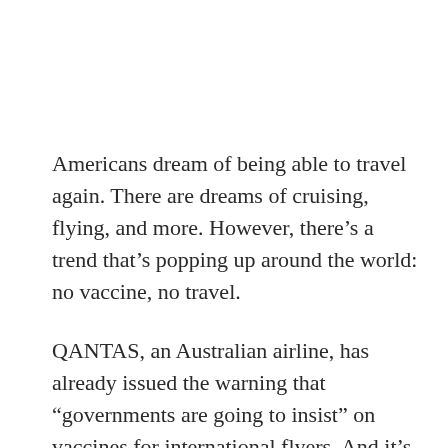Americans dream of being able to travel again. There are dreams of cruising, flying, and more. However, there's a trend that's popping up around the world: no vaccine, no travel.
QANTAS, an Australian airline, has already issued the warning that “governments are going to insist” on vaccines for international flyers. And it’s not just the Australian government that is going to require a vaccine.
Many countries around the world are talking about the